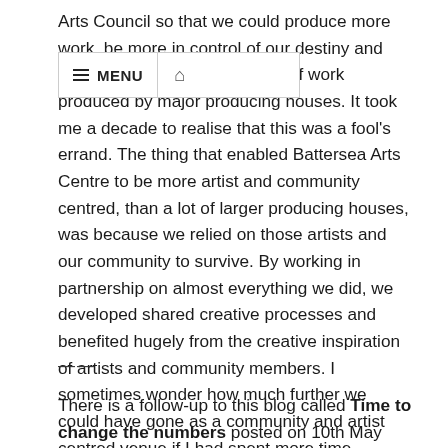Arts Council so that we could produce more work, be more in control of our destiny and offer an alternative to the kind of work produced by major producing houses. It took me a decade to realise that this was a fool's errand. The thing that enabled Battersea Arts Centre to be more artist and community centred, than a lot of larger producing houses, was because we relied on those artists and our community to survive. By working in partnership on almost everything we did, we developed shared creative processes and benefited hugely from the creative inspiration of artists and community members. I sometimes wonder how much further we could have gone as a community and artist centred venue if I had spent more time celebrating that fact; and stopped chasing the idea of always producing more work.
——
There is a follow-up to this blog called Time to change the numbers posted on 10th May 2020